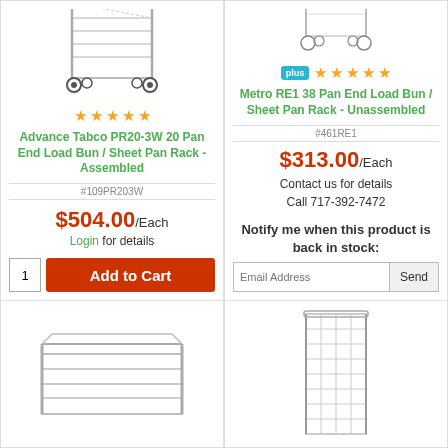[Figure (photo): Advance Tabco PR20-3W 20 Pan End Load Bun/Sheet Pan Rack assembled, aluminum, on wheels]
★★★★★
Advance Tabco PR20-3W 20 Pan End Load Bun / Sheet Pan Rack - Assembled
#109PR203W
$504.00/Each
Login for details
1   Add to Cart
[Figure (photo): Metro RE1 38 Pan End Load Bun/Sheet Pan Rack unassembled, white/silver, on wheels]
plus ★★★★★
Metro RE1 38 Pan End Load Bun / Sheet Pan Rack - Unassembled
#461RE1
$313.00/Each
Contact us for details
Call 717-392-7472
Notify me when this product is back in stock:
Email Address   Send
[Figure (photo): Aluminum sheet pan rack, low profile, open frame style]
[Figure (photo): Wire grid sheet pan rack, tall narrow vertical style]